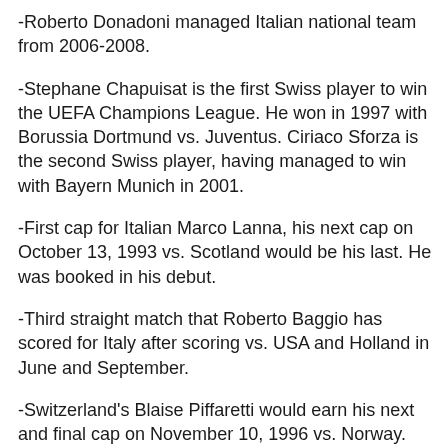-Roberto Donadoni managed Italian national team from 2006-2008.
-Stephane Chapuisat is the first Swiss player to win the UEFA Champions League. He won in 1997 with Borussia Dortmund vs. Juventus. Ciriaco Sforza is the second Swiss player, having managed to win with Bayern Munich in 2001.
-First cap for Italian Marco Lanna, his next cap on October 13, 1993 vs. Scotland would be his last. He was booked in his debut.
-Third straight match that Roberto Baggio has scored for Italy after scoring vs. USA and Holland in June and September.
-Switzerland's Blaise Piffaretti would earn his next and final cap on November 10, 1996 vs. Norway.